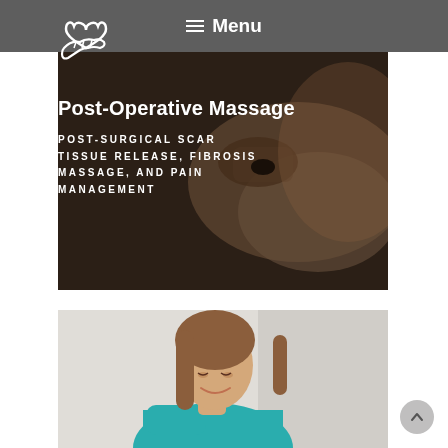Menu
[Figure (photo): Post-operative massage hero image: hands performing massage therapy on skin, dark moody background with text overlay reading 'Post-Operative Massage' and 'POST-SURGICAL SCAR TISSUE RELEASE, FIBROSIS MASSAGE, AND PAIN MANAGEMENT']
Post-Operative Massage
POST-SURGICAL SCAR TISSUE RELEASE, FIBROSIS MASSAGE, AND PAIN MANAGEMENT
[Figure (photo): Portrait of a smiling woman with long brown hair wearing a teal sleeveless top, looking downward, light gray background]